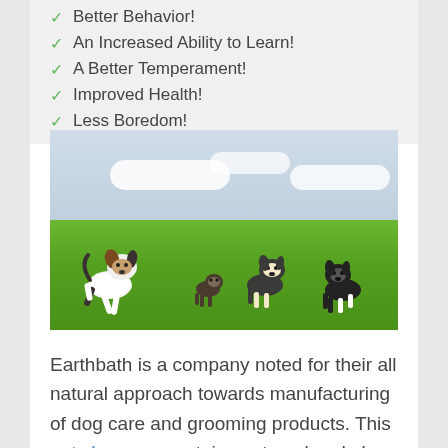Better Behavior!
An Increased Ability to Learn!
A Better Temperament!
Improved Health!
Less Boredom!
[Figure (photo): Four puppies running on a green grass field with a light cloudy sky in the background.]
Earthbath is a company noted for their all natural approach towards manufacturing of dog care and grooming products. This pet shampoo contains oatmeal and aloe to fight skin irritation, promote healing and